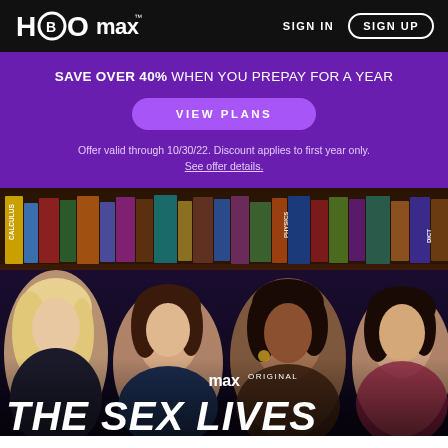HBO max | SIGN IN | SIGN UP
SAVE OVER 40% WHEN YOU PREPAY FOR A YEAR
VIEW PLANS
Offer valid through 10/30/22. Discount applies to first year only. See offer details.
[Figure (photo): Promotional image for 'The Sex Lives of...' HBO Max Original series showing four women standing in front of a bookshelf with books including Calculus, Physics, and Dictionary visible. Text reads 'max ORIGINAL' and 'THE SEX LIVES' at the bottom.]